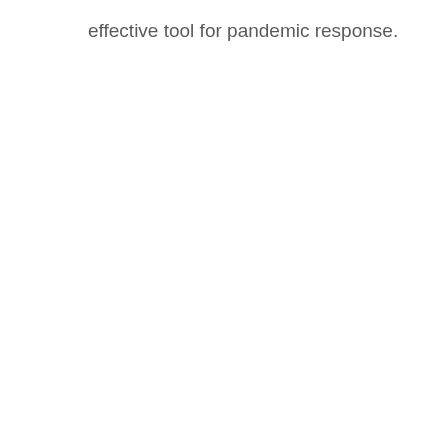effective tool for pandemic response.